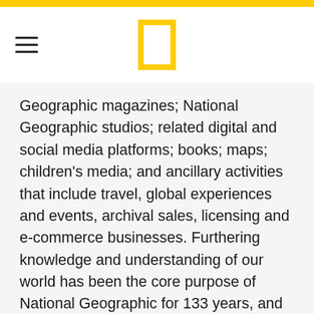National Geographic header with logo and hamburger menu
Geographic magazines; National Geographic studios; related digital and social media platforms; books; maps; children's media; and ancillary activities that include travel, global experiences and events, archival sales, licensing and e-commerce businesses. Furthering knowledge and understanding of our world has been the core purpose of National Geographic for 133 years, and now we are committed to going deeper,